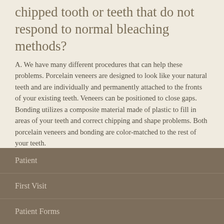chipped tooth or teeth that do not respond to normal bleaching methods?
A. We have many different procedures that can help these problems. Porcelain veneers are designed to look like your natural teeth and are individually and permanently attached to the fronts of your existing teeth. Veneers can be positioned to close gaps. Bonding utilizes a composite material made of plastic to fill in areas of your teeth and correct chipping and shape problems. Both porcelain veneers and bonding are color-matched to the rest of your teeth.
Patient
First Visit
Patient Forms